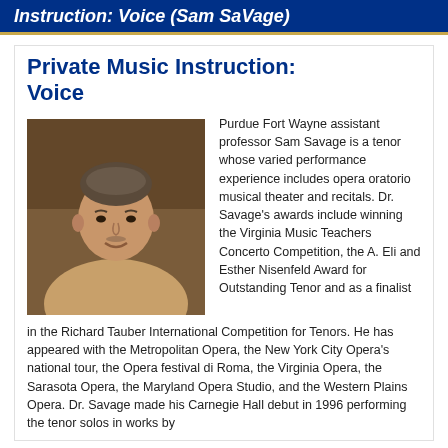Instruction: Voice (Sam SaVage)
Private Music Instruction: Voice
[Figure (photo): Headshot of Sam Savage, a middle-aged man wearing a tan polo shirt, smiling, with a blurred indoor background.]
Purdue Fort Wayne assistant professor Sam Savage is a tenor whose varied performance experience includes opera oratorio musical theater and recitals. Dr. Savage's awards include winning the Virginia Music Teachers Concerto Competition, the A. Eli and Esther Nisenfeld Award for Outstanding Tenor and as a finalist in the Richard Tauber International Competition for Tenors. He has appeared with the Metropolitan Opera, the New York City Opera's national tour, the Opera festival di Roma, the Virginia Opera, the Sarasota Opera, the Maryland Opera Studio, and the Western Plains Opera. Dr. Savage made his Carnegie Hall debut in 1996 performing the tenor solos in works by